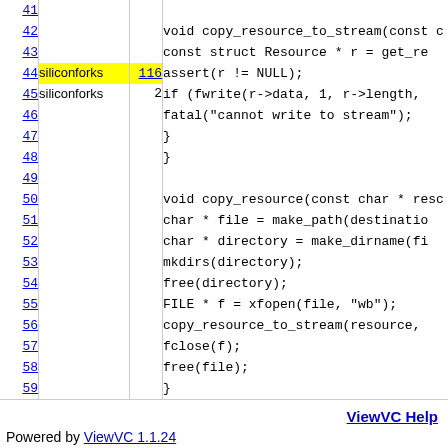| Line | Owner | Rev | Code |
| --- | --- | --- | --- |
| 41 |  |  |  |
| 42 |  |  | void copy_resource_to_stream(const c |
| 43 |  |  |     const struct Resource * r = get_re |
| 44 | siliconforks | 116 |     assert(r != NULL); |
| 45 | siliconforks | 2 |     if (fwrite(r->data, 1, r->length, |
| 46 |  |  |         fatal("cannot write to stream"); |
| 47 |  |  |     } |
| 48 |  |  | } |
| 49 |  |  |  |
| 50 |  |  | void copy_resource(const char * resc |
| 51 |  |  |     char * file = make_path(destinatio |
| 52 |  |  |     char * directory = make_dirname(fi |
| 53 |  |  |     mkdirs(directory); |
| 54 |  |  |     free(directory); |
| 55 |  |  |     FILE * f = xfopen(file, "wb"); |
| 56 |  |  |     copy_resource_to_stream(resource, |
| 57 |  |  |     fclose(f); |
| 58 |  |  |     free(file); |
| 59 |  |  | } |
ViewVC Help
Powered by ViewVC 1.1.24